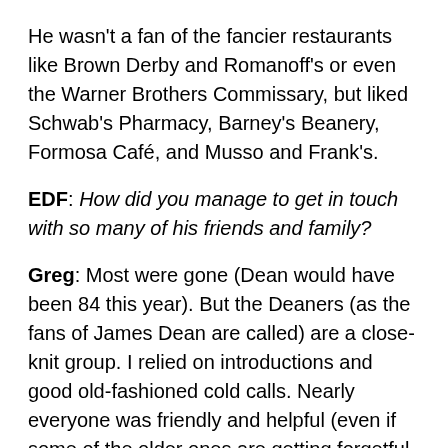He wasn't a fan of the fancier restaurants like Brown Derby and Romanoff's or even the Warner Brothers Commissary, but liked Schwab's Pharmacy, Barney's Beanery, Formosa Café, and Musso and Frank's.
EDF: How did you manage to get in touch with so many of his friends and family?
Greg: Most were gone (Dean would have been 84 this year). But the Deaners (as the fans of James Dean are called) are a close-knit group. I relied on introductions and good old-fashioned cold calls. Nearly everyone was friendly and helpful (even if some of the older ones are getting forgetful or cranky). It was such a thrill to correspond with jazz singer Toni Lee Scott, Eartha Kitt's daughter Kitt Shapiro, Sammy Davis Jr.'s son, or his best friend Lew Bracker. The people from his hometown of